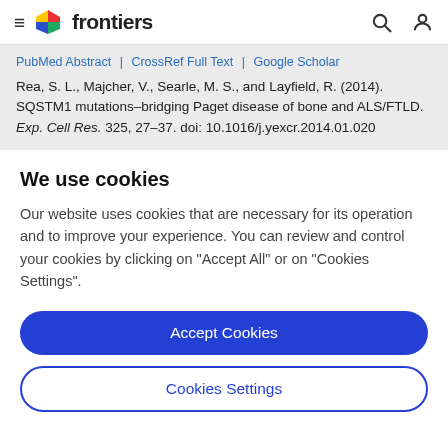frontiers
PubMed Abstract | CrossRef Full Text | Google Scholar
Rea, S. L., Majcher, V., Searle, M. S., and Layfield, R. (2014). SQSTM1 mutations–bridging Paget disease of bone and ALS/FTLD. Exp. Cell Res. 325, 27–37. doi: 10.1016/j.yexcr.2014.01.020
We use cookies
Our website uses cookies that are necessary for its operation and to improve your experience. You can review and control your cookies by clicking on "Accept All" or on "Cookies Settings".
Accept Cookies
Cookies Settings